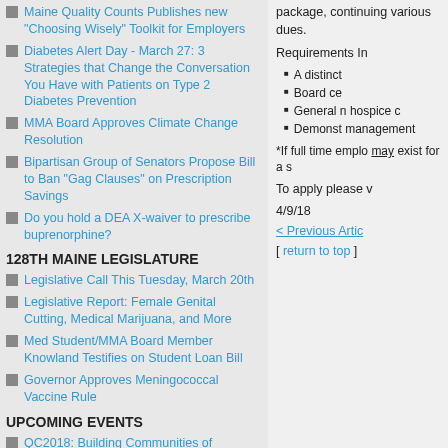Maine Quality Counts Publishes new "Choosing Wisely" Toolkit for Employers
Diabetes Alert Day - March 27: 3 Strategies that Change the Conversation You Have with Patients on Type 2 Diabetes Prevention
MMA Board Approves Climate Change Resolution
Bipartisan Group of Senators Propose Bill to Ban "Gag Clauses" on Prescription Savings
Do you hold a DEA X-waiver to prescribe buprenorphine?
128TH MAINE LEGISLATURE
Legislative Call This Tuesday, March 20th
Legislative Report: Female Genital Cutting, Medical Marijuana, and More
Med Student/MMA Board Member Knowland Testifies on Student Loan Bill
Governor Approves Meningococcal Vaccine Rule
UPCOMING EVENTS
QC2018: Building Communities of Practice through Innovation - Wednesday, April 4, 2018
MMA and Jackson Laboratory Seeking Volunteers to Assist with 2018 Maine Cancer Genomics Initiative Forum - April 6-8
FREE 8-Hr. MAT Waiver Training Being Offered in Dover, NH - Friday, April 27th
Introduction to Lean in Healthcare Full-Day Workshop on Tuesday, May 8
New Free CME on Alzheimer's Risk, Detection, and Management
Peer Navigation Program from Facing Our Risk of
package, continuing various dues.
Requirements In
A distinct
Board ce
General m hospice c
Demonst management
*If full time emplo may exist for a s
To apply please v
4/9/18
< Previous Artic
[ return to top ]